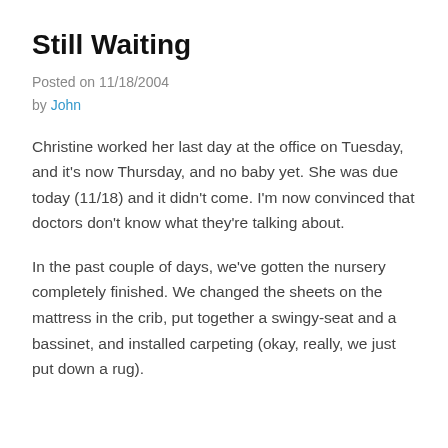Still Waiting
Posted on 11/18/2004
by John
Christine worked her last day at the office on Tuesday, and it's now Thursday, and no baby yet. She was due today (11/18) and it didn't come. I'm now convinced that doctors don't know what they're talking about.
In the past couple of days, we've gotten the nursery completely finished. We changed the sheets on the mattress in the crib, put together a swingy-seat and a bassinet, and installed carpeting (okay, really, we just put down a rug).